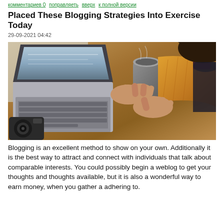комментариев 0  поправляеть  вверх  к полной версии
Placed These Blogging Strategies Into Exercise Today
29-09-2021 04:42
[Figure (photo): Person in yellow knit sweater typing on laptop at wooden desk with coffee cup and camera nearby]
Blogging is an excellent method to show on your own. Additionally it is the best way to attract and connect with individuals that talk about comparable interests. You could possibly begin a weblog to get your thoughts and thoughts available, but it is also a wonderful way to earn money, when you gather a adhering to.